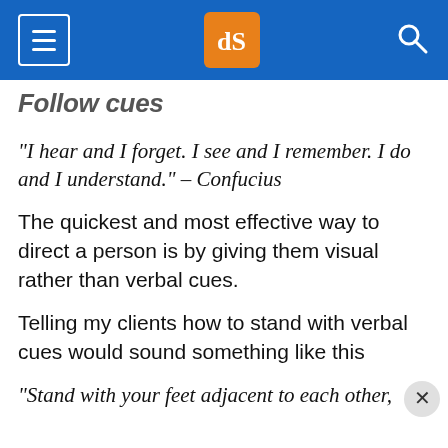dPS navigation bar with hamburger menu, logo, and search icon
Follow cues
"I hear and I forget. I see and I remember. I do and I understand." – Confucius
The quickest and most effective way to direct a person is by giving them visual rather than verbal cues.
Telling my clients how to stand with verbal cues would sound something like this
"Stand with your feet adjacent to each other,